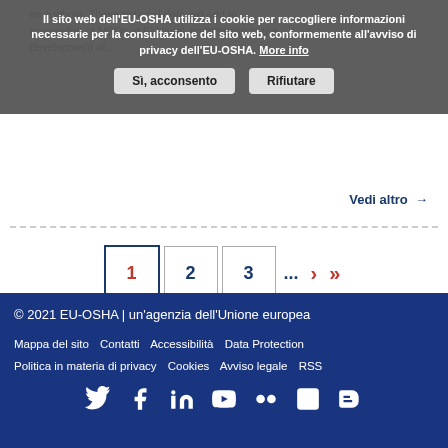as a whole. These national data will add to knowledge of MSDs at EU level, contributing to the development of…
Il sito web dell'EU-OSHA utilizza i cookie per raccogliere informazioni necessarie per la consultazione del sito web, conformemente all'avviso di privacy dell'EU-OSHA. More info
Sì, acconsento  Rifiutare
Vedi altro →
1   2   3   ...   ›   »
© 2021 EU-OSHA | un'agenzia dell'Unione europea
Mappa del sito  Contatti  Accessibilità  Data Protection
Politica in materia di privacy  Cookies  Avviso legale  RSS